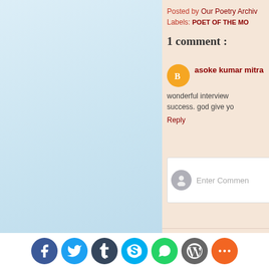[Figure (photo): Light blue and white gradient background on the left panel, resembling a sky or soft wash.]
Posted by Our Poetry Archiv
Labels: POET OF THE MO
1 comment :
asoke kumar mitra
wonderful interview success. god give yo
Reply
Enter Commen
Newer Post
[Figure (infographic): Social media share bar with 7 circular icon buttons: Facebook (blue), Twitter (light blue), Tumblr (dark navy), Skype (cyan), WhatsApp (green), WordPress (gray), More (orange).]